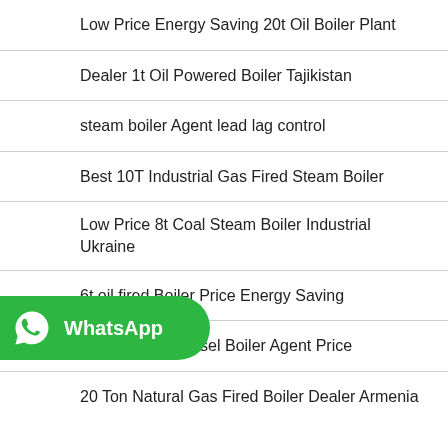Low Price Energy Saving 20t Oil Boiler Plant
Dealer 1t Oil Powered Boiler Tajikistan
steam boiler Agent lead lag control
Best 10T Industrial Gas Fired Steam Boiler
Low Price 8t Coal Steam Boiler Industrial Ukraine
6t oil fired Boiler Price Energy Saving
Industrial 10t Diesel Boiler Agent Price
[Figure (logo): WhatsApp button with green background, phone icon, and 'WhatsApp' text in white]
20 Ton Natural Gas Fired Boiler Dealer Armenia